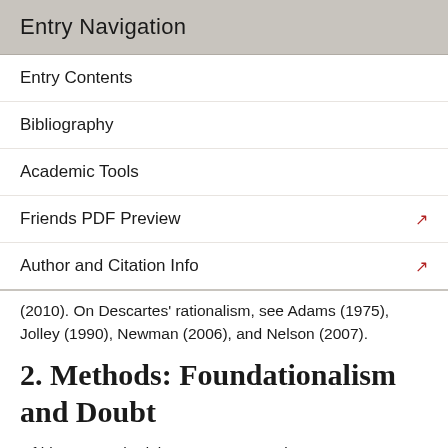Entry Navigation
Entry Contents
Bibliography
Academic Tools
Friends PDF Preview
Author and Citation Info
(2010). On Descartes' rationalism, see Adams (1975), Jolley (1990), Newman (2006), and Nelson (2007).
2. Methods: Foundationalism and Doubt
Of his own methodology, Descartes writes:
Throughout my writings I have made it clear that my method imitates that of the architect. When an